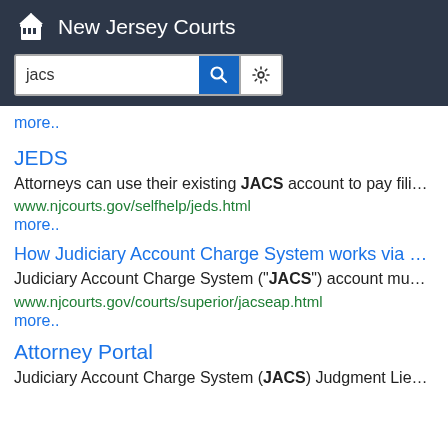New Jersey Courts
[Figure (screenshot): Search bar with 'jacs' typed in, blue search button and gear settings button]
more..
JEDS
Attorneys can use their existing JACS account to pay fili...
www.njcourts.gov/selfhelp/jeds.html
more..
How Judiciary Account Charge System works via ...
Judiciary Account Charge System ("JACS") account mu...
www.njcourts.gov/courts/superior/jacseap.html
more..
Attorney Portal
Judiciary Account Charge System (JACS) Judgment Lie...